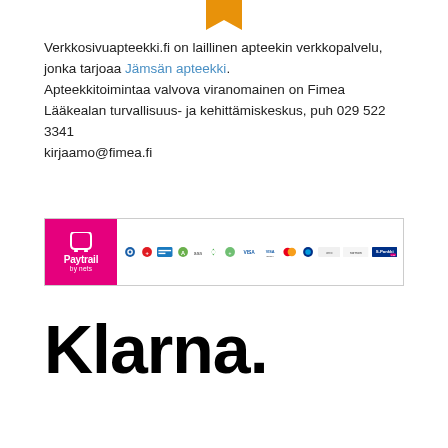[Figure (logo): Gold/orange bookmark ribbon shape at top center]
Verkkosivuapteekki.fi on laillinen apteekin verkkopalvelu, jonka tarjoaa Jämsän apteekki.
Apteekkitoimintaa valvova viranomainen on Fimea Lääkealan turvallisuus- ja kehittämiskeskus, puh 029 522 3341 kirjaamo@fimea.fi
[Figure (logo): Paytrail by Nets payment banner showing various payment method icons including bank logos, Visa, Mastercard, and S-Pankki]
[Figure (logo): Klarna. logo in bold black text]